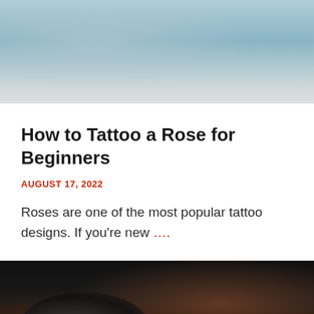[Figure (photo): Top portion of a tattoo photo showing a person's torso/arm area with tattoos, wearing a blue-grey shirt, close-up view]
How to Tattoo a Rose for Beginners
AUGUST 17, 2022
Roses are one of the most popular tattoo designs. If you're new …
[Figure (photo): Close-up photo of a tattooist's black-gloved hand holding a tattoo machine/gun, dark background with orange/warm tones on the right side]